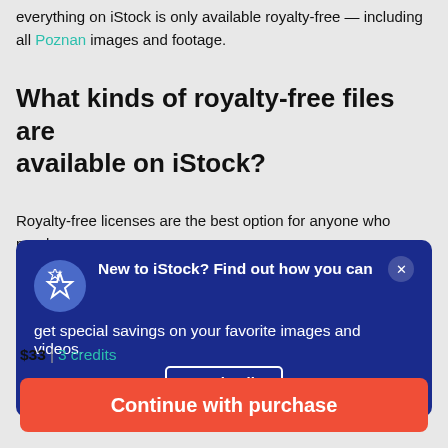everything on iStock is only available royalty-free — including all Poznan images and footage.
What kinds of royalty-free files are available on iStock?
Royalty-free licenses are the best option for anyone who needs
[Figure (infographic): Dark blue promotional banner with star icon, text: 'New to iStock? Find out how you can get special savings on your favorite images and videos.' with a 'See details' button and close (x) button.]
$33 | 3 credits
Continue with purchase